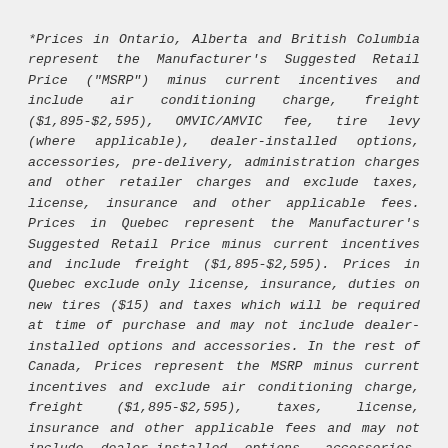*Prices in Ontario, Alberta and British Columbia represent the Manufacturer's Suggested Retail Price ("MSRP") minus current incentives and include air conditioning charge, freight ($1,895-$2,595), OMVIC/AMVIC fee, tire levy (where applicable), dealer-installed options, accessories, pre-delivery, administration charges and other retailer charges and exclude taxes, license, insurance and other applicable fees. Prices in Quebec represent the Manufacturer's Suggested Retail Price minus current incentives and include freight ($1,895-$2,595). Prices in Quebec exclude only license, insurance, duties on new tires ($15) and taxes which will be required at time of purchase and may not include dealer-installed options and accessories. In the rest of Canada, Prices represent the MSRP minus current incentives and exclude air conditioning charge, freight ($1,895-$2,595), taxes, license, insurance and other applicable fees and may not include dealer-installed options, accessories, pre-delivery, administration charges and other retailer charges. Incentive discounts may include Consumer Cash discounts, which are applied before taxes, and/or Bonus Cash discounts, which are applied after taxes. Please see your dealership sales representative or visit Build and Price for further pricing information. Incentives may vary from time to time and may vary considerably by model, trim and engine option selected. All prices are in Canadian dollars (unless otherwise